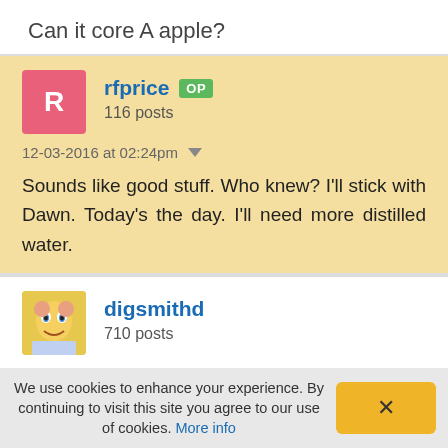Can it core A apple?
rfprice OP
116 posts
12-03-2016 at 02:24pm
Sounds like good stuff. Who knew? I'll stick with Dawn. Today's the day. I'll need more distilled water.
digsmithd
710 posts
We use cookies to enhance your experience. By continuing to visit this site you agree to our use of cookies. More info